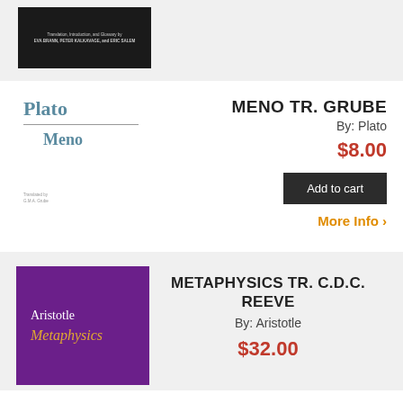[Figure (illustration): Book cover with dark background showing translator credits: Translation, Introduction, and Glossary by EVA BRANN, PETER KALKAVAGE, and ERIC SALEM]
[Figure (illustration): Book cover for Plato Meno showing 'Plato' in teal, a horizontal line, and 'Meno' in teal, with small translator text 'Translated by G.M.A. Grube']
MENO TR. GRUBE
By: Plato
$8.00
Add to cart
More Info >
[Figure (illustration): Purple book cover for Aristotle Metaphysics with gold italic title text]
METAPHYSICS TR. C.D.C. REEVE
By: Aristotle
$32.00